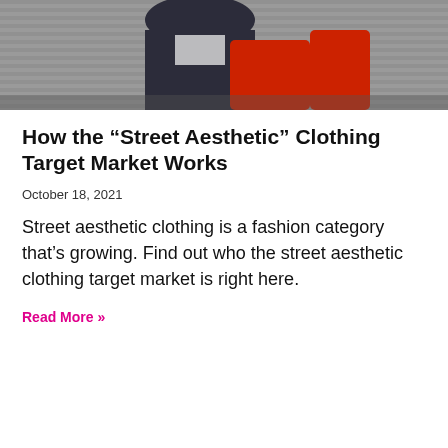[Figure (photo): Person wearing street aesthetic clothing — dark jacket and bright red pants, sitting against a gray background]
How the “Street Aesthetic” Clothing Target Market Works
October 18, 2021
Street aesthetic clothing is a fashion category that’s growing. Find out who the street aesthetic clothing target market is right here.
Read More »